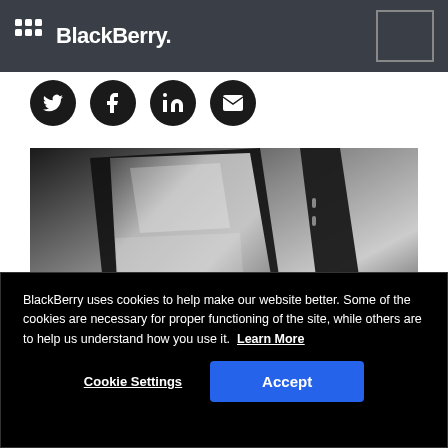BlackBerry logo header bar
[Figure (logo): BlackBerry logo with grid-of-dots icon and text 'BlackBerry.' in white on dark gray header bar]
[Figure (illustration): Four circular social media icons: Twitter (bird), Facebook (f), LinkedIn (in), Email (envelope) in black circles]
[Figure (photo): Black and white close-up photograph of a smartphone (BlackBerry device) with reflections on the screen]
BlackBerry uses cookies to help make our website better. Some of the cookies are necessary for proper functioning of the site, while others are to help us understand how you use it.  Learn More
Cookie Settings    Accept